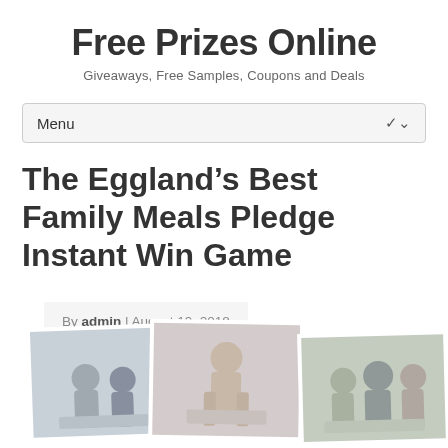Free Prizes Online
Giveaways, Free Samples, Coupons and Deals
Menu
The Eggland’s Best Family Meals Pledge Instant Win Game
By admin | August 19, 2018
[Figure (photo): Three overlapping polaroid-style photos showing families and children eating meals together]